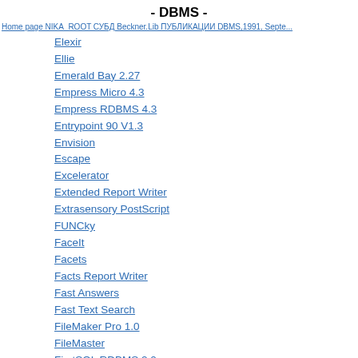- DBMS -
Home page NIKA_ROOT СУБД Beckner.Lib ПУБЛИКАЦИИ DBMS,1991, Septe...
Elexir
Ellie
Emerald Bay 2.27
Empress Micro 4.3
Empress RDBMS 4.3
Entrypoint 90 V1.3
Envision
Escape
Excelerator
Extended Report Writer
Extrasensory PostScript
FUNCky
FaceIt
Facets
Facts Report Writer
Fast Answers
Fast Text Search
FileMaker Pro 1.0
FileMaster
FirstSQL RDBMS 2.0
FlexGen
FlexQL
Fli...